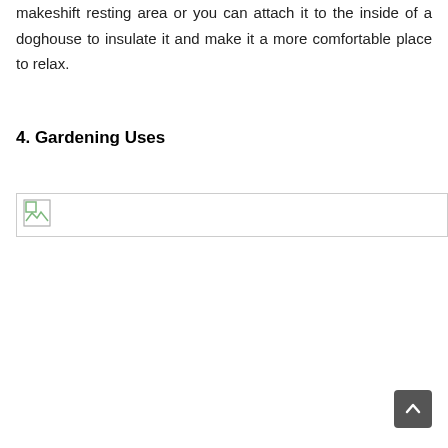makeshift resting area or you can attach it to the inside of a doghouse to insulate it and make it a more comfortable place to relax.
4. Gardening Uses
[Figure (photo): Broken/missing image placeholder for gardening uses section]